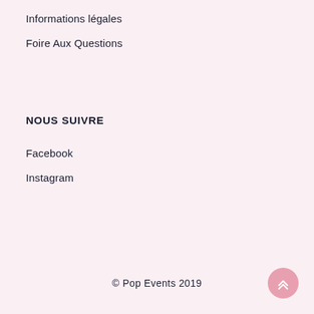Informations légales
Foire Aux Questions
NOUS SUIVRE
Facebook
Instagram
© Pop Events 2019